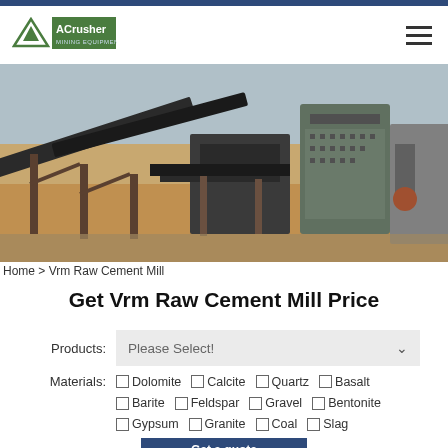[Figure (logo): ACrusher Mining Equipment logo — green triangle with white mountain and green text on dark green background]
[Figure (photo): Aerial/ground-level photo of a mining/crushing facility showing large conveyor belts, industrial machinery, and open-pit terrain]
Home > Vrm Raw Cement Mill
Get Vrm Raw Cement Mill Price
Products: Please Select!
Materials: Dolomite  Calcite  Quartz  Basalt  Barite  Feldspar  Gravel  Bentonite  Gypsum  Granite  Coal  Slag